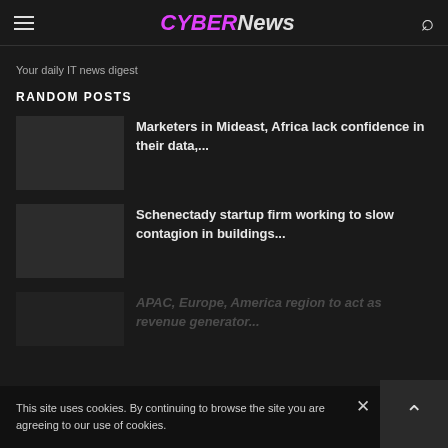CYBERNews
Your daily IT news digest
RANDOM POSTS
Marketers in Mideast, Africa lack confidence in their data,...
Schenectady startup firm working to slow contagion in buildings...
APAC, Europe, America region to act as revenue generator...
This site uses cookies. By continuing to browse the site you are agreeing to our use of cookies.